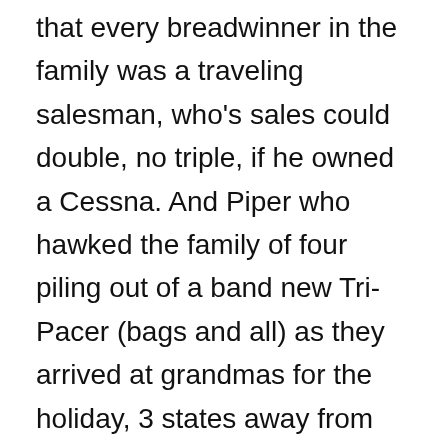that every breadwinner in the family was a traveling salesman, who's sales could double, no triple, if he owned a Cessna. And Piper who hawked the family of four piling out of a band new Tri-Pacer (bags and all) as they arrived at grandmas for the holiday, 3 states away from home. While sure, these are contrived bits of advertising flourish, they are endemic of the real drive behind the General Aviation pilots of previous generations. These planes, and the infrastructure to support